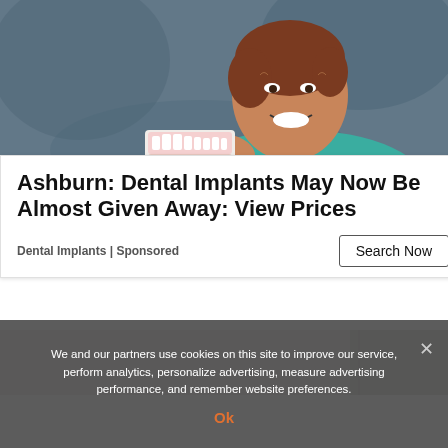[Figure (photo): Older Asian woman smiling and holding a dental model (denture mold) against a grey background, wearing a teal top]
Ashburn: Dental Implants May Now Be Almost Given Away: View Prices
Dental Implants | Sponsored
Search Now
[Figure (photo): Partial view of a person with blonde hair, background visible below the ad card]
We and our partners use cookies on this site to improve our service, perform analytics, personalize advertising, measure advertising performance, and remember website preferences.
Ok